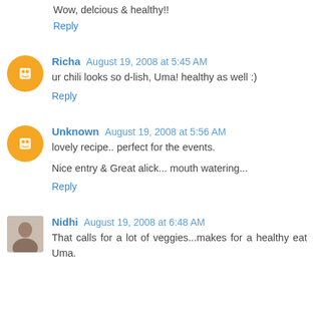Wow, delcious & healthy!!
Reply
Richa August 19, 2008 at 5:45 AM
ur chili looks so d-lish, Uma! healthy as well :)
Reply
Unknown August 19, 2008 at 5:56 AM
lovely recipe.. perfect for the events.
Nice entry & Great alick... mouth watering...
Reply
Nidhi August 19, 2008 at 6:48 AM
That calls for a lot of veggies...makes for a healthy eat Uma.